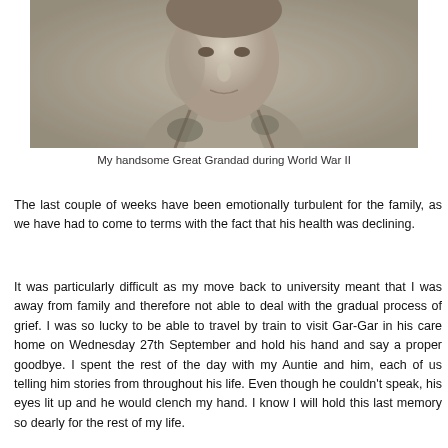[Figure (photo): Black and white photograph of a young man in military uniform, cropped to show the face and upper chest area. The photo is grainy and appears vintage, consistent with a World War II era portrait.]
My handsome Great Grandad during World War II
The last couple of weeks have been emotionally turbulent for the family, as we have had to come to terms with the fact that his health was declining.
It was particularly difficult as my move back to university meant that I was away from family and therefore not able to deal with the gradual process of grief. I was so lucky to be able to travel by train to visit Gar-Gar in his care home on Wednesday 27th September and hold his hand and say a proper goodbye. I spent the rest of the day with my Auntie and him, each of us telling him stories from throughout his life. Even though he couldn't speak, his eyes lit up and he would clench my hand. I know I will hold this last memory so dearly for the rest of my life.